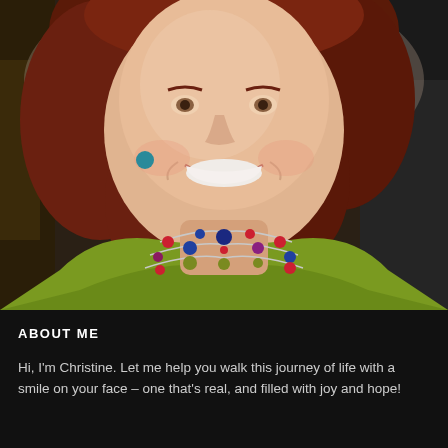[Figure (photo): A smiling woman with reddish-brown hair wearing a green top and a colorful multi-strand beaded necklace with red, blue, green, and purple beads. She is photographed in an indoor setting with a dark background.]
ABOUT ME
Hi, I'm Christine. Let me help you walk this journey of life with a smile on your face – one that's real, and filled with joy and hope!